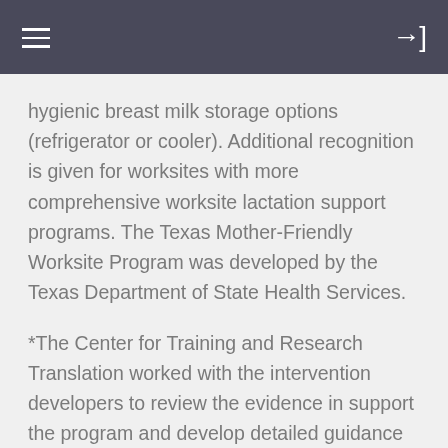hygienic breast milk storage options (refrigerator or cooler). Additional recognition is given for worksites with more comprehensive worksite lactation support programs. The Texas Mother-Friendly Worksite Program was developed by the Texas Department of State Health Services.
*The Center for Training and Research Translation worked with the intervention developers to review the evidence in support the program and develop detailed guidance on how to implement it in practice*